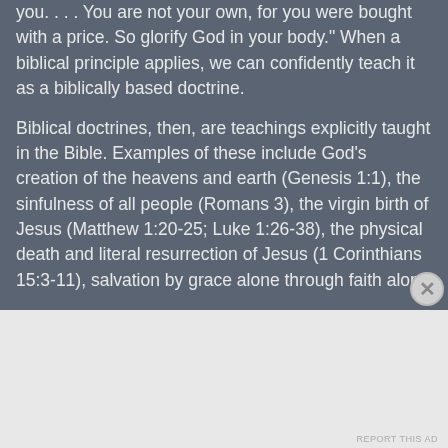you. . . . You are not your own, for you were bought with a price. So glorify God in your body." When a biblical principle applies, we can confidently teach it as a biblically based doctrine.
Biblical doctrines, then, are teachings explicitly taught in the Bible. Examples of these include God's creation of the heavens and earth (Genesis 1:1), the sinfulness of all people (Romans 3), the virgin birth of Jesus (Matthew 1:20-25; Luke 1:26-38), the physical death and literal resurrection of Jesus (1 Corinthians 15:3-11), salvation by grace alone through faith alone